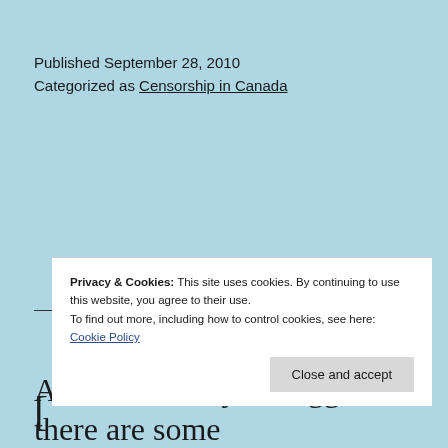Published September 28, 2010
Categorized as Censorship in Canada
Privacy & Cookies: This site uses cookies. By continuing to use this website, you agree to their use. To find out more, including how to control cookies, see here: Cookie Policy
Close and accept
American analysis suggests there are some